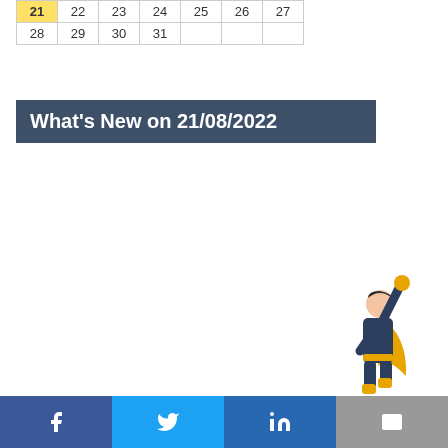| 21 | 22 | 23 | 24 | 25 | 26 | 27 |
| 28 | 29 | 30 | 31 |  |  |  |
What's New on 21/08/2022
[Figure (illustration): Superhero illustration in navy and yellow costume with arm raised upward, flying pose]
[Figure (infographic): Social media share bar with Facebook, Twitter, LinkedIn, and Email buttons]